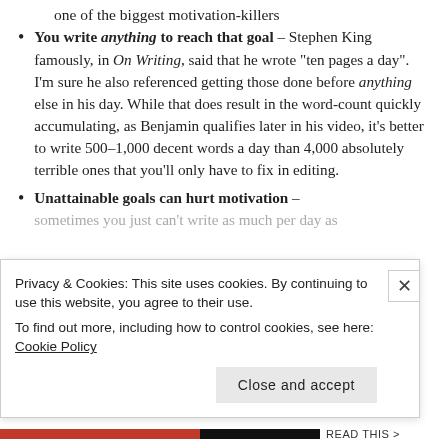one of the biggest motivation-killers
You write anything to reach that goal – Stephen King famously, in On Writing, said that he wrote “ten pages a day”. I’m sure he also referenced getting those done before anything else in his day. While that does result in the word-count quickly accumulating, as Benjamin qualifies later in his video, it’s better to write 500-1,000 decent words a day than 4,000 absolutely terrible ones that you’ll only have to fix in editing.
Unattainable goals can hurt motivation – sometimes you just can’t write as much per day as
Privacy & Cookies: This site uses cookies. By continuing to use this website, you agree to their use.
To find out more, including how to control cookies, see here: Cookie Policy
Close and accept